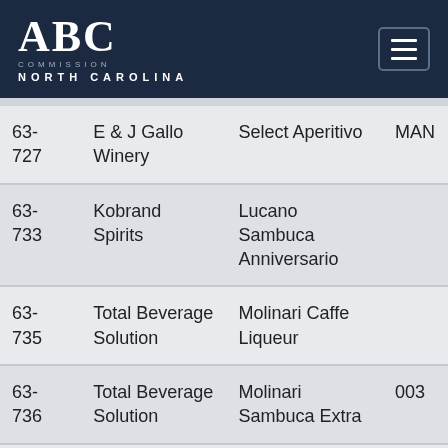ABC Commission North Carolina
| Code | Supplier | Product | Code2 |
| --- | --- | --- | --- |
| 63-727 | E & J Gallo Winery | Select Aperitivo | MAN |
| 63-733 | Kobrand Spirits | Lucano Sambuca Anniversario |  |
| 63-735 | Total Beverage Solution | Molinari Caffe Liqueur |  |
| 63-736 | Total Beverage Solution | Molinari Sambuca Extra | 003 |
| 63-745 | Heaven Hill | Basilica Sambuca |  |